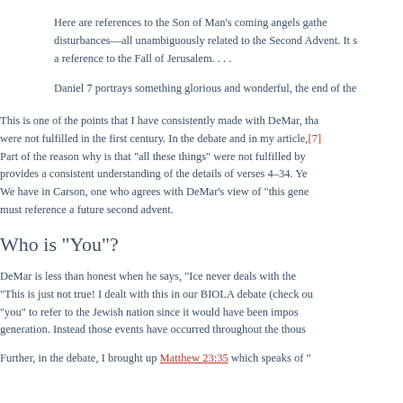Here are references to the Son of Man's coming angels gathe disturbances—all unambiguously related to the Second Advent. It s a reference to the Fall of Jerusalem. . . .
Daniel 7 portrays something glorious and wonderful, the end of the
This is one of the points that I have consistently made with DeMar, tha were not fulfilled in the first century. In the debate and in my article, [7] Part of the reason why is that "all these things" were not fulfilled by provides a consistent understanding of the details of verses 4–34. Ye We have in Carson, one who agrees with DeMar's view of "this gene must reference a future second advent.
Who is "You"?
DeMar is less than honest when he says, "Ice never deals with the "This is just not true! I dealt with this in our BIOLA debate (check ou "you" to refer to the Jewish nation since it would have been impos generation. Instead those events have occurred throughout the thous
Further, in the debate, I brought up Matthew 23:35 which speaks of "